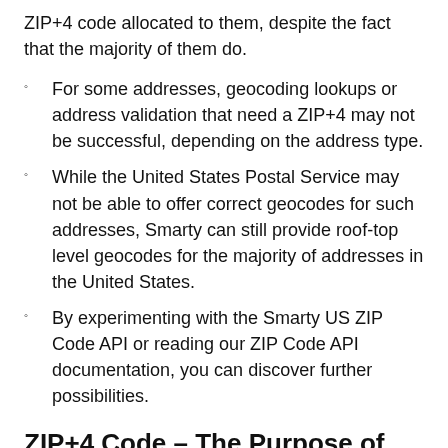ZIP+4 code allocated to them, despite the fact that the majority of them do.
For some addresses, geocoding lookups or address validation that need a ZIP+4 may not be successful, depending on the address type.
While the United States Postal Service may not be able to offer correct geocodes for such addresses, Smarty can still provide roof-top level geocodes for the majority of addresses in the United States.
By experimenting with the Smarty US ZIP Code API or reading our ZIP Code API documentation, you can discover further possibilities.
ZIP+4 Code – The Purpose of